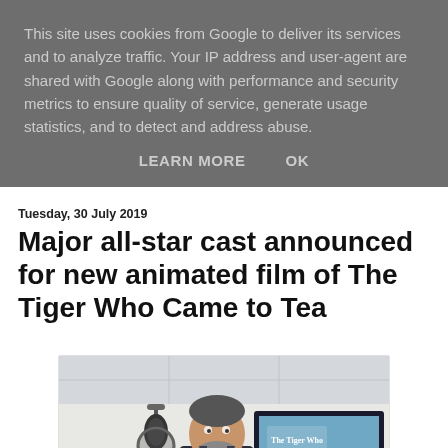This site uses cookies from Google to deliver its services and to analyze traffic. Your IP address and user-agent are shared with Google along with performance and security metrics to ensure quality of service, generate usage statistics, and to detect and address abuse.
LEARN MORE   OK
Tuesday, 30 July 2019
Major all-star cast announced for new animated film of The Tiger Who Came to Tea
[Figure (photo): A man in a dark suit standing in front of a microphone in a recording studio, with a screen behind him showing 'The Tiger Who Came To Tea' with an illustrated tiger character.]